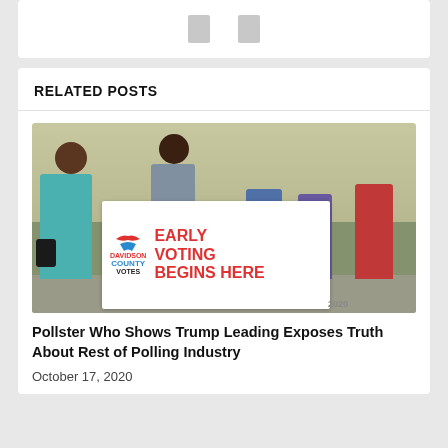RELATED POSTS
[Figure (photo): People wearing masks standing outside near a Davidson County Votes Early Voting Begins Here sign]
Pollster Who Shows Trump Leading Exposes Truth About Rest of Polling Industry
October 17, 2020